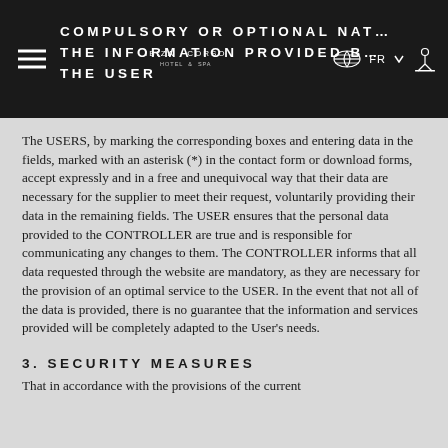COMPULSORY OR OPTIONAL NATURE OF THE INFORMATION PROVIDED BY THE USER
The USERS, by marking the corresponding boxes and entering data in the fields, marked with an asterisk (*) in the contact form or download forms, accept expressly and in a free and unequivocal way that their data are necessary for the supplier to meet their request, voluntarily providing their data in the remaining fields. The USER ensures that the personal data provided to the CONTROLLER are true and is responsible for communicating any changes to them. The CONTROLLER informs that all data requested through the website are mandatory, as they are necessary for the provision of an optimal service to the USER. In the event that not all of the data is provided, there is no guarantee that the information and services provided will be completely adapted to the User's needs.
3. SECURITY MEASURES
That in accordance with the provisions of the current